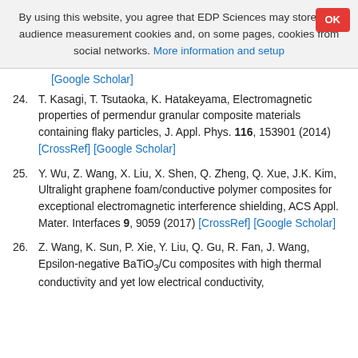By using this website, you agree that EDP Sciences may store web audience measurement cookies and, on some pages, cookies from social networks. More information and setup
[Google Scholar]
24. T. Kasagi, T. Tsutaoka, K. Hatakeyama, Electromagnetic properties of permendur granular composite materials containing flaky particles, J. Appl. Phys. 116, 153901 (2014) [CrossRef] [Google Scholar]
25. Y. Wu, Z. Wang, X. Liu, X. Shen, Q. Zheng, Q. Xue, J.K. Kim, Ultralight graphene foam/conductive polymer composites for exceptional electromagnetic interference shielding, ACS Appl. Mater. Interfaces 9, 9059 (2017) [CrossRef] [Google Scholar]
26. Z. Wang, K. Sun, P. Xie, Y. Liu, Q. Gu, R. Fan, J. Wang, Epsilon-negative BaTiO3/Cu composites with high thermal conductivity and yet low electrical conductivity,